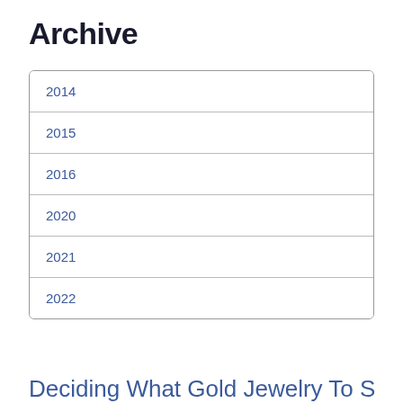Archive
2014
2015
2016
2020
2021
2022
Deciding What Gold Jewelry To Sell